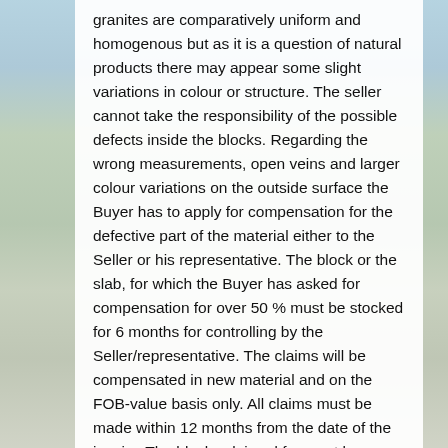granites are comparatively uniform and homogenous but as it is a question of natural products there may appear some slight variations in colour or structure. The seller cannot take the responsibility of the possible defects inside the blocks. Regarding the wrong measurements, open veins and larger colour variations on the outside surface the Buyer has to apply for compensation for the defective part of the material either to the Seller or his representative. The block or the slab, for which the Buyer has asked for compensation for over 50 % must be stocked for 6 months for controlling by the Seller/representative. The claims will be compensated in new material and on the FOB-value basis only. All claims must be made within 12 months from the date of the invoice The blocks claimed for must be recognizable from